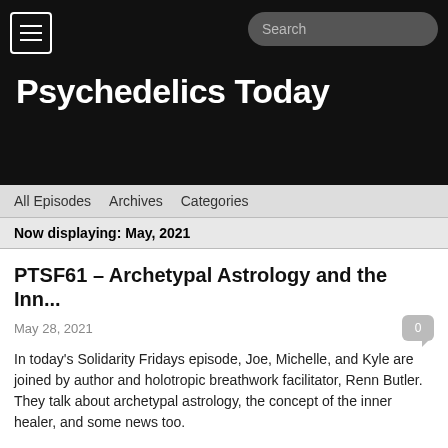Psychedelics Today
All Episodes  Archives  Categories
Now displaying: May, 2021
PTSF61 – Archetypal Astrology and the Inn...
May 28, 2021
In today's Solidarity Fridays episode, Joe, Michelle, and Kyle are joined by author and holotropic breathwork facilitator, Renn Butler. They talk about archetypal astrology, the concept of the inner healer, and some news too.
www.psychedelicstoday.com